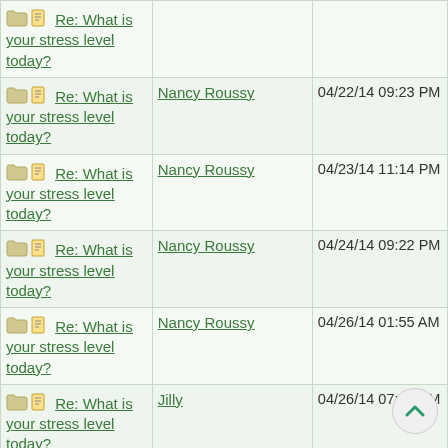| Thread | Author | Date |
| --- | --- | --- |
| Re: What is your stress level today? |  |  |
| Re: What is your stress level today? | Nancy Roussy | 04/22/14 09:23 PM |
| Re: What is your stress level today? | Nancy Roussy | 04/23/14 11:14 PM |
| Re: What is your stress level today? | Nancy Roussy | 04/24/14 09:22 PM |
| Re: What is your stress level today? | Nancy Roussy | 04/26/14 01:55 AM |
| Re: What is your stress level today? | Jilly | 04/26/14 07:03 PM |
| Re: What is your stress level today? | Nancy Roussy | 04/27/14 02:25 AM |
| Re: What is your stress level today? | Nancy Roussy | 04/28/14 01:30 AM |